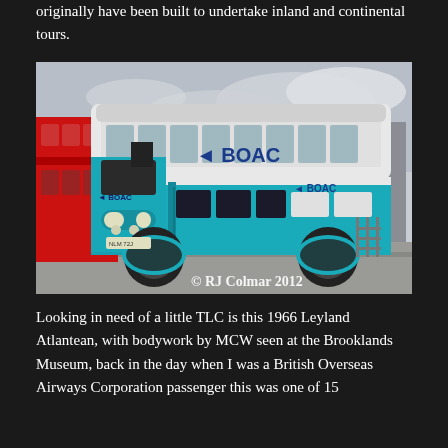originally have been built to undertake inland and continental tours.
[Figure (photo): A 1966 Leyland Atlantean double-decker bus in BOAC (British Overseas Airways Corporation) livery — white upper deck and teal/turquoise lower body with BOAC branding and logo. A red London double-decker bus is partially visible on the left. The photo is taken at the Brooklands Museum. Copyright watermark reads '© RJ Colmar 2012'.]
Looking in need of a little TLC is this 1966 Leyland Atlantean, with bodywork by MCW seen at the Brooklands Museum, back in the day when I was a British Overseas Airways Corporation passenger this was one of 15